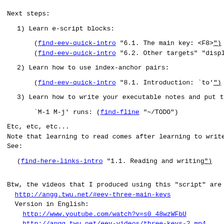Next steps:
1) Learn e-script blocks:
(find-eev-quick-intro "6.1. The main key: <F8>")
(find-eev-quick-intro "6.2. Other targets" "display
2) Learn how to use index-anchor pairs:
(find-eev-quick-intro "8.1. Introduction: `to'")
3) Learn how to write your executable notes and put the
`M-1 M-j' runs: (find-fline "~/TODO")
Etc, etc, etc...
Note that learning to read comes after learning to write
See:
(find-here-links-intro "1.1. Reading and writing")
Btw, the videos that I produced using this "script" are h
  http://angg.twu.net/#eev-three-main-keys
  Version in English:
    http://www.youtube.com/watch?v=s0_48wzWFbU
    http://angg.twu.net/eev-videos/three-keys-2.mp4